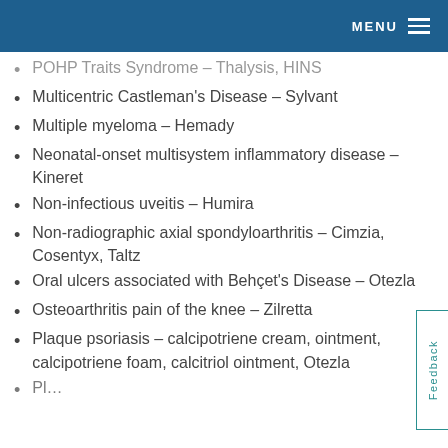MENU
Multicentric Castleman’s Disease – Sylvant
Multiple myeloma – Hemady
Neonatal-onset multisystem inflammatory disease – Kineret
Non-infectious uveitis – Humira
Non-radiographic axial spondyloarthritis – Cimzia, Cosentyx, Taltz
Oral ulcers associated with Behçet’s Disease – Otezla
Osteoarthritis pain of the knee – Zilretta
Plaque psoriasis – calcipotriene cream, ointment, calcipotriene foam, calcitriol ointment, Otezla